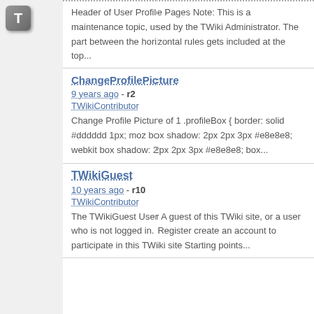[Figure (logo): Letter T icon/logo in grey square with rounded corners]
Header of User Profile Pages Note: This is a maintenance topic, used by the TWiki Administrator. The part between the horizontal rules gets included at the top...
ChangeProfilePicture
9 years ago - r2 TWikiContributor
Change Profile Picture of 1 .profileBox { border: solid #dddddd 1px; moz box shadow: 2px 2px 3px #e8e8e8; webkit box shadow: 2px 2px 3px #e8e8e8; box...
TWikiGuest
10 years ago - r10 TWikiContributor
The TWikiGuest User A guest of this TWiki site, or a user who is not logged in. Register create an account to participate in this TWiki site Starting points...